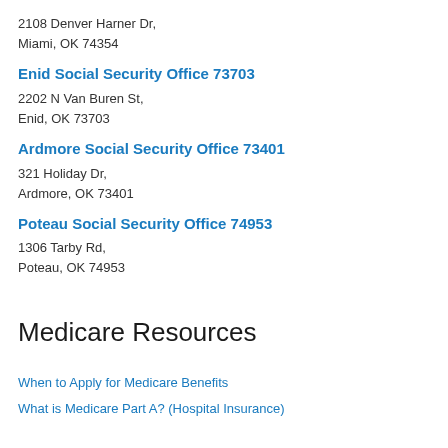2108 Denver Harner Dr,
Miami, OK 74354
Enid Social Security Office 73703
2202 N Van Buren St,
Enid, OK 73703
Ardmore Social Security Office 73401
321 Holiday Dr,
Ardmore, OK 73401
Poteau Social Security Office 74953
1306 Tarby Rd,
Poteau, OK 74953
Medicare Resources
When to Apply for Medicare Benefits
What is Medicare Part A? (Hospital Insurance)